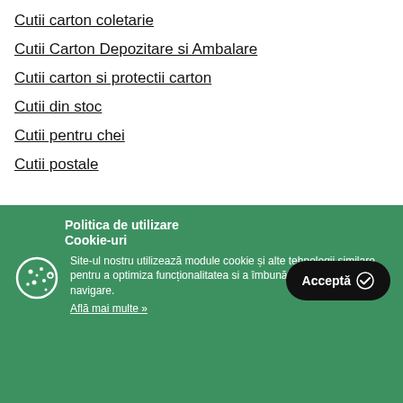Cutii carton coletarie
Cutii Carton Depozitare si Ambalare
Cutii carton si protectii carton
Cutii din stoc
Cutii pentru chei
Cutii postale
Politica de utilizare Cookie-uri
Site-ul nostru utilizează module cookie și alte tehnologii similare pentru a optimiza funcționalitatea si a îmbunătăți experiența de navigare.
Află mai multe »
Acceptă